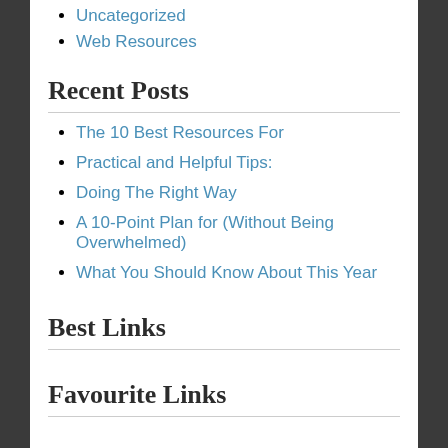Uncategorized
Web Resources
Recent Posts
The 10 Best Resources For
Practical and Helpful Tips:
Doing The Right Way
A 10-Point Plan for (Without Being Overwhelmed)
What You Should Know About This Year
Best Links
Favourite Links